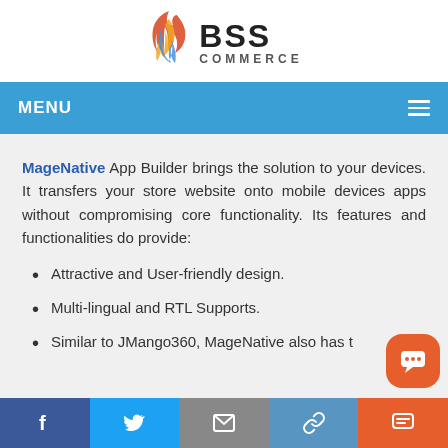[Figure (logo): BSS Commerce logo with flame graphic and text BSS COMMERCE]
MENU
MageNative App Builder brings the solution to your devices. It transfers your store website onto mobile devices apps without compromising core functionality. Its features and functionalities do provide:
Attractive and User-friendly design.
Multi-lingual and RTL Supports.
Similar to JMango360, MageNative also has t